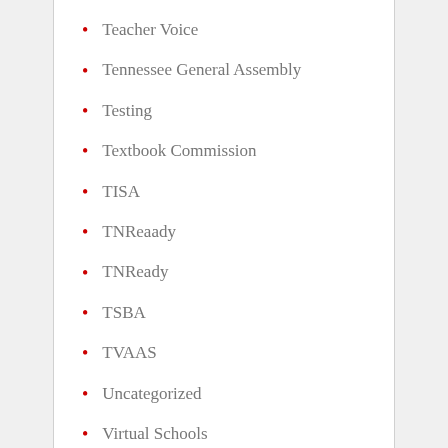Teacher Voice
Tennessee General Assembly
Testing
Textbook Commission
TISA
TNReaady
TNReady
TSBA
TVAAS
Uncategorized
Virtual Schools
Vouchers